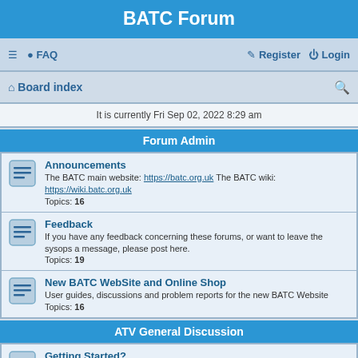BATC Forum
≡  FAQ    Register  Login
Board index
It is currently Fri Sep 02, 2022 8:29 am
Forum Admin
Announcements - The BATC main website: https://batc.org.uk The BATC wiki: https://wiki.batc.org.uk - Topics: 16
Feedback - If you have any feedback concerning these forums, or want to leave the sysops a message, please post here. Topics: 19
New BATC WebSite and Online Shop - User guides, discussions and problem reports for the new BATC Website - Topics: 16
ATV General Discussion
Getting Started? - Click here to learn more about Amateur TV and the BATC - Topics: 51
General ATV Discussion